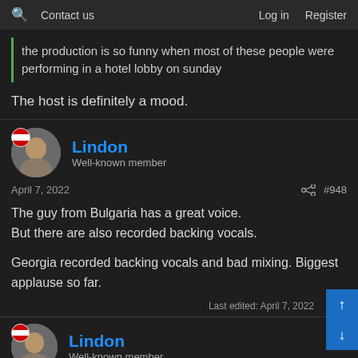Contact us   Log in   Register
the production is so funny when most of these people were performing in a hotel lobby on sunday
The host is definitely a mood.
Lindon
Well-known member
April 7, 2022   #948
The guy from Bulgaria has a great voice.
But there are also recorded backing vocals.

Georgia recorded backing vocals and bad mixing. Biggest applause so far.
Last edited: April 7, 2022
Lindon
Well-known member